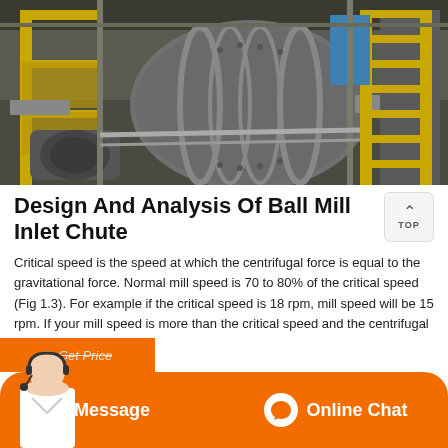[Figure (photo): Industrial ball mill machine in a factory setting, showing a large rotating cylinder with metal framework, yellow railings and stairs, and various mechanical components.]
Design And Analysis Of Ball Mill Inlet Chute
Critical speed is the speed at which the centrifugal force is equal to the gravitational force. Normal mill speed is 70 to 80% of the critical speed (Fig 1.3). For example if the critical speed is 18 rpm, mill speed will be 15 rpm. If your mill speed is more than the critical speed and the centrifugal action
[Figure (other): Orange call-to-action bar at the bottom with 'Message' button on left and 'Online Chat' button with icon on right, plus a 'Get Price' banner and agent photo overlay.]